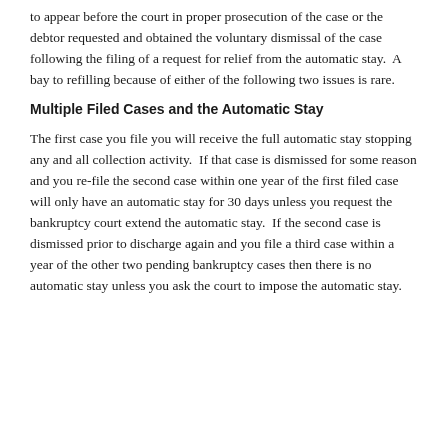to appear before the court in proper prosecution of the case or the debtor requested and obtained the voluntary dismissal of the case following the filing of a request for relief from the automatic stay.  A bay to refilling because of either of the following two issues is rare.
Multiple Filed Cases and the Automatic Stay
The first case you file you will receive the full automatic stay stopping any and all collection activity.  If that case is dismissed for some reason and you re-file the second case within one year of the first filed case will only have an automatic stay for 30 days unless you request the bankruptcy court extend the automatic stay.  If the second case is dismissed prior to discharge again and you file a third case within a year of the other two pending bankruptcy cases then there is no automatic stay unless you ask the court to impose the automatic stay.